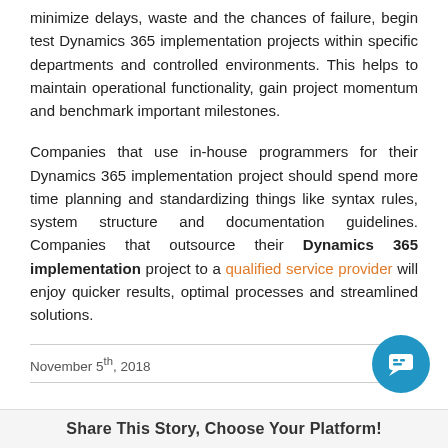minimize delays, waste and the chances of failure, begin test Dynamics 365 implementation projects within specific departments and controlled environments. This helps to maintain operational functionality, gain project momentum and benchmark important milestones.
Companies that use in-house programmers for their Dynamics 365 implementation project should spend more time planning and standardizing things like syntax rules, system structure and documentation guidelines. Companies that outsource their Dynamics 365 implementation project to a qualified service provider will enjoy quicker results, optimal processes and streamlined solutions.
November 5th, 2018
Share This Story, Choose Your Platform!